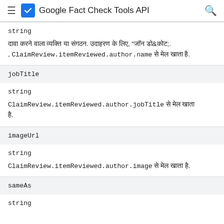Google Fact Check Tools API
string
दावा करने वाला व्यक्ति या संगठन. उदाहरण के लिए, "जॉन डो&कोट;. , ClaimReview.itemReviewed.author.name से मेल खाता है.
jobTitle
string
ClaimReview.itemReviewed.author.jobTitle से मेल खाता है.
imageUrl
string
ClaimReview.itemReviewed.author.image से मेल खाता है.
sameAs
string